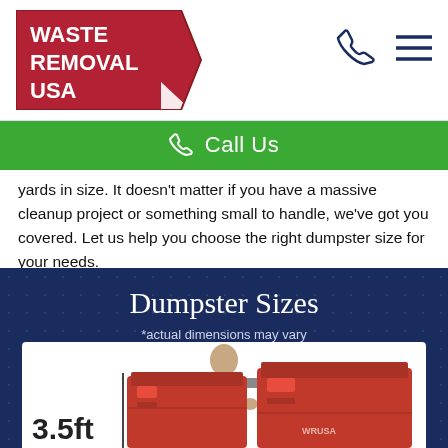[Figure (logo): Waste Removal USA logo — red pennant/flag shape with white bold text 'WASTE REMOVAL USA' and a white triangle on the right side]
[Figure (infographic): Phone icon (handset outline) and hamburger menu icon (three horizontal lines) in dark navy blue in the header top-right]
Call Us
yards in size. It doesn't matter if you have a massive cleanup project or something small to handle, we've got you covered. Let us help you choose the right dumpster size for your needs.
Dumpster Sizes
*actual dimensions may vary
[Figure (photo): A bald man in a gray long-sleeve shirt smiling, standing in front of two red dumpsters. A measurement label '3.5ft' is shown on the left with a vertical dividing line.]